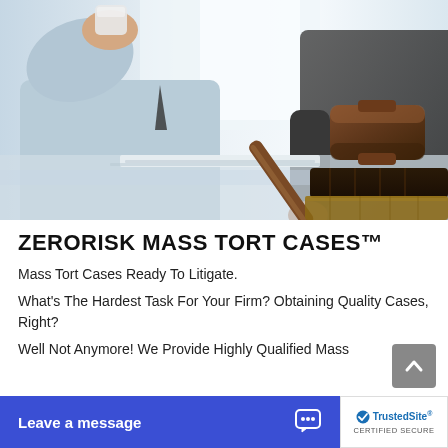[Figure (photo): Legal consultation photo showing two people at a desk with a judge's gavel on a wooden block in the foreground, and one person holding a document/cup in the background.]
ZERORISK MASS TORT CASES™
Mass Tort Cases Ready To Litigate.
What's The Hardest Task For Your Firm? Obtaining Quality Cases, Right?
Well Not Anymore! We Provide Highly Qualified Mass